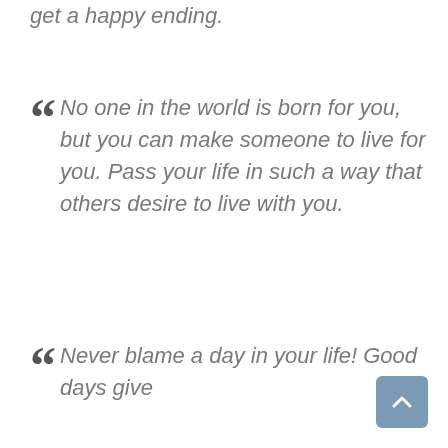get a happy ending.
No one in the world is born for you, but you can make someone to live for you. Pass your life in such a way that others desire to live with you.
Never blame a day in your life! Good days give